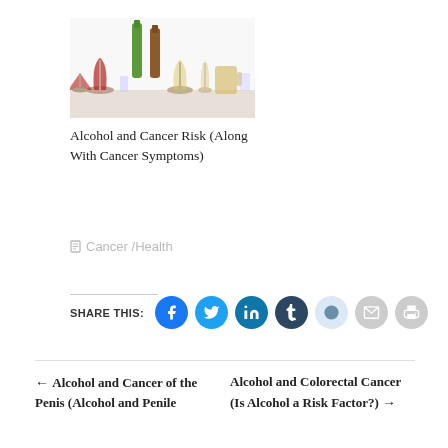[Figure (photo): Assorted alcoholic beverages — wine glasses, beer bottles, cocktail glasses on a white background]
Alcohol and Cancer Risk (Along With Cancer Symptoms)
Cancer /Health
SHARE THIS:
← Alcohol and Cancer of the Penis (Alcohol and Penile
Alcohol and Colorectal Cancer (Is Alcohol a Risk Factor?) →